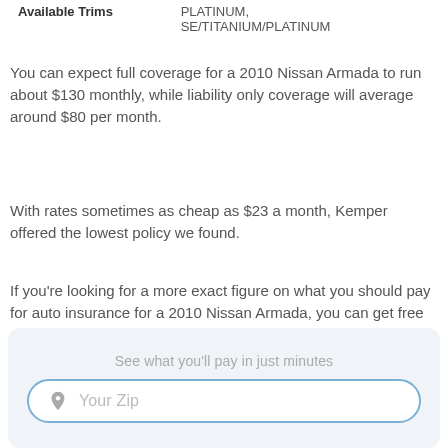| Available Trims | PLATINUM, SE/TITANIUM/PLATINUM |
You can expect full coverage for a 2010 Nissan Armada to run about $130 monthly, while liability only coverage will average around $80 per month.
With rates sometimes as cheap as $23 a month, Kemper offered the lowest policy we found.
If you're looking for a more exact figure on what you should pay for auto insurance for a 2010 Nissan Armada, you can get free quotes in minutes by just entering your ZIP code below.
[Figure (other): ZIP code input widget with label 'See what you'll pay in just minutes' and a rounded input field showing a location pin icon and 'Your Zip' placeholder text]